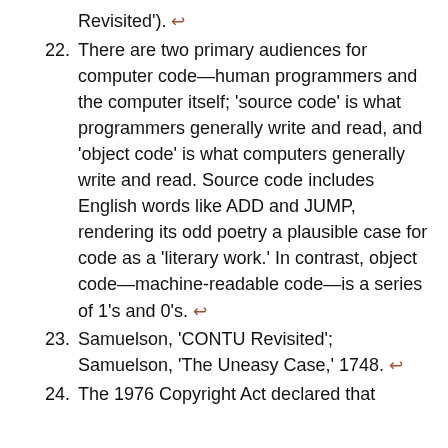Revisited'). ↩
22. There are two primary audiences for computer code—human programmers and the computer itself; 'source code' is what programmers generally write and read, and 'object code' is what computers generally write and read. Source code includes English words like ADD and JUMP, rendering its odd poetry a plausible case for code as a 'literary work.' In contrast, object code—machine-readable code—is a series of 1's and 0's. ↩
23. Samuelson, 'CONTU Revisited'; Samuelson, 'The Uneasy Case,' 1748. ↩
24. The 1976 Copyright Act declared that